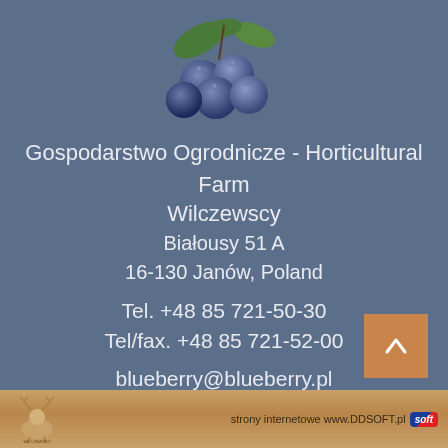[Figure (photo): A cluster of fresh blueberries with green leaves on a blue-gray background]
Gospodarstwo Ogrodnicze - Horticultural Farm
Wilczewscy
Białousy 51 A
16-130 Janów, Poland
Tel. +48 85 721-50-30
Tel/fax. +48 85 721-52-00
blueberry@blueberry.pl
[Figure (logo): Wilczewscy deer logo in footer]
strony internetowe www.DDSOFT.pl soft